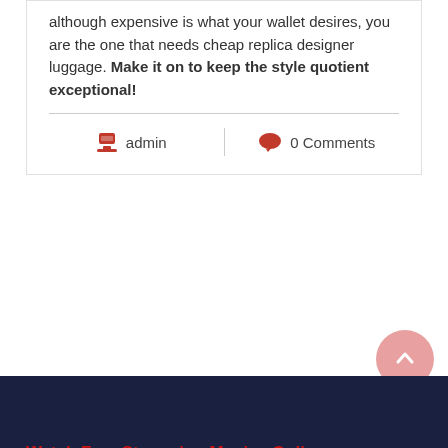although expensive is what your wallet desires, you are the one that needs cheap replica designer luggage. Make it on to keep the style quotient exceptional!
admin   0 Comments
Watch Free Streaming Movies Online